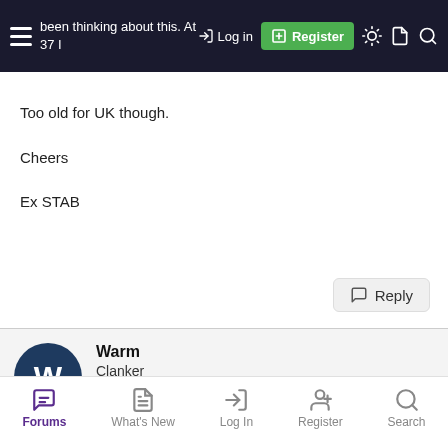been thinking about this. At 37 I [was at 17 but I'm a damned sight more useful and I've certainly got more stamina.
Too old for UK though.

Cheers

Ex STAB
Warm
Clanker
5 Dec 2006
Forums | What's New | Log In | Register | Search